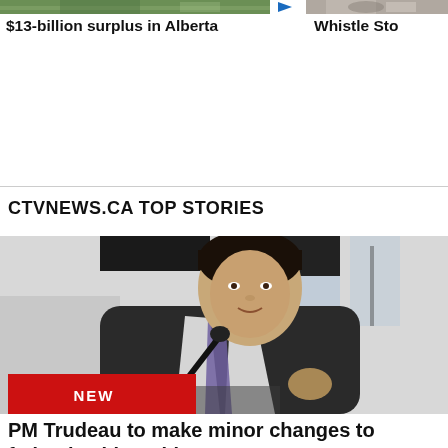[Figure (photo): Partial thumbnail photo of outdoor scene (top left)]
$13-billion surplus in Alberta
[Figure (photo): Partial thumbnail photo of a person (top right)]
Whistle Sto
CTVNEWS.CA TOP STORIES
[Figure (photo): Photo of PM Justin Trudeau speaking at a podium with a microphone, wearing a dark suit and purple tie, with a NEW badge overlay in red]
PM Trudeau to make minor changes to federal cabinet this